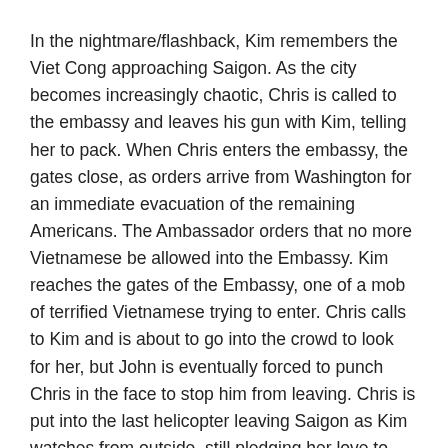In the nightmare/flashback, Kim remembers the Viet Cong approaching Saigon. As the city becomes increasingly chaotic, Chris is called to the embassy and leaves his gun with Kim, telling her to pack. When Chris enters the embassy, the gates close, as orders arrive from Washington for an immediate evacuation of the remaining Americans. The Ambassador orders that no more Vietnamese be allowed into the Embassy. Kim reaches the gates of the Embassy, one of a mob of terrified Vietnamese trying to enter. Chris calls to Kim and is about to go into the crowd to look for her, but John is eventually forced to punch Chris in the face to stop him from leaving. Chris is put into the last helicopter leaving Saigon as Kim watches from outside, still pledging her love to him (“The Fall of Saigon”).
Back in 1978 Bangkok, Kim joyfully dresses in her wedding clothes (“Sun and Moon: Reprise”) and leaves the Engineer to watch Tam while she is gone. She goes to Chris’s hotel room, where she finds Ellen. Kim is shocked that there is a Chris’s...